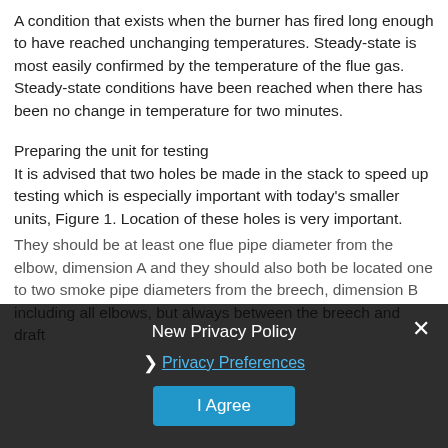A condition that exists when the burner has fired long enough to have reached unchanging temperatures. Steady-state is most easily confirmed by the temperature of the flue gas. Steady-state conditions have been reached when there has been no change in temperature for two minutes.
Preparing the unit for testing
It is advised that two holes be made in the stack to speed up testing which is especially important with today's smaller units, Figure 1. Location of these holes is very important.
They should be at least one flue pipe diameter from the elbow, dimension A and they should also both be located one to two smoke pipe diameters from the breech, dimension B including all elbows, but always between the breech and draft